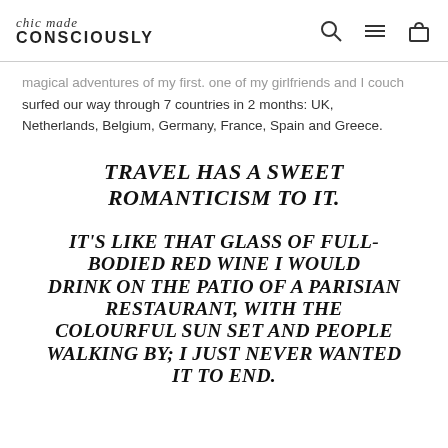chic made CONSCIOUSLY
magical adventures of my first. one of my girlfriends and I couch surfed our way through 7 countries in 2 months: UK, Netherlands, Belgium, Germany, France, Spain and Greece.
TRAVEL HAS A SWEET ROMANTICISM TO IT.
IT'S LIKE THAT GLASS OF FULL-BODIED RED WINE I WOULD DRINK ON THE PATIO OF A PARISIAN RESTAURANT, WITH THE COLOURFUL SUN SET AND PEOPLE WALKING BY; I JUST NEVER WANTED IT TO END.